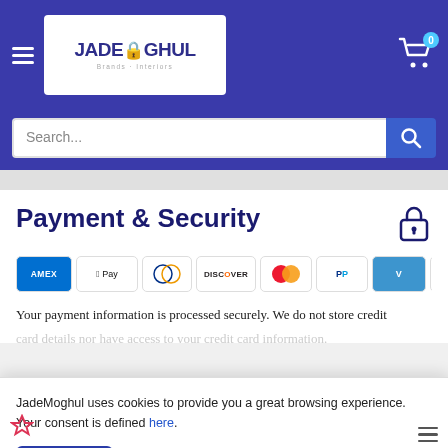[Figure (logo): JadeMoghul logo on white background with blue text and lock icon]
Search...
Payment & Security
[Figure (infographic): Row of payment method icons: American Express, Apple Pay, Diners Club, Discover, Mastercard, PayPal, Venmo, Visa]
Your payment information is processed securely. We do not store credit
JadeMoghul uses cookies to provide you a great browsing experience. Your consent is defined here.
Sure!